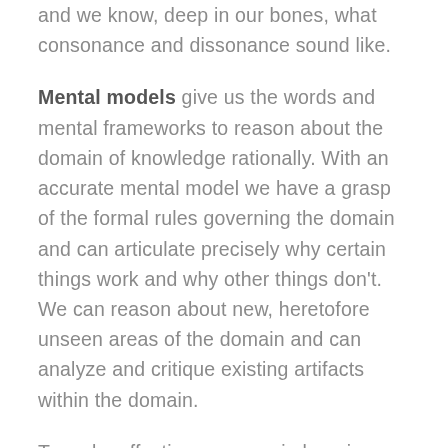and we know, deep in our bones, what consonance and dissonance sound like.
Mental models give us the words and mental frameworks to reason about the domain of knowledge rationally. With an accurate mental model we have a grasp of the formal rules governing the domain and can articulate precisely why certain things work and why other things don’t. We can reason about new, heretofore unseen areas of the domain and can analyze and critique existing artifacts within the domain.
To make effective progress in learning a domain is to hone an ever deeper intuition and an ever finer and more nuanced mental model. Both are necessary: intuition allows us to move quickly and